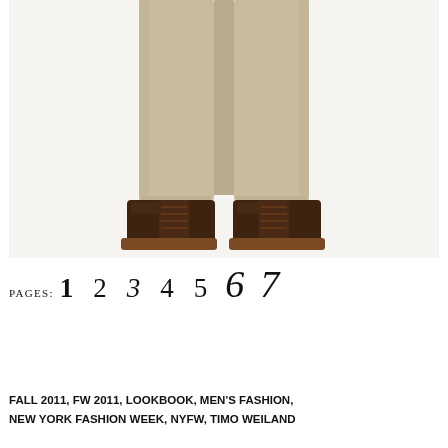[Figure (photo): Lower body shot of a man wearing slim-fit beige/khaki trousers and dark brown lace-up ankle boots, standing against a white background.]
PAGES: 1 2 3 4 5 6 7
FALL 2011, FW 2011, LOOKBOOK, MEN'S FASHION, NEW YORK FASHION WEEK, NYFW, TIMO WEILAND